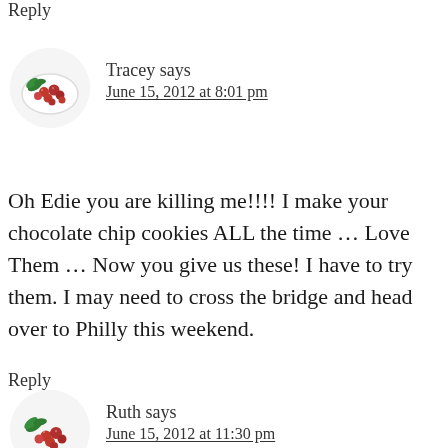Reply
Tracey says
June 15, 2012 at 8:01 pm
[Figure (illustration): Circular avatar image showing a white plate with red berries (cranberries) and green leaves on a white background]
Oh Edie you are killing me!!!! I make your chocolate chip cookies ALL the time … Love Them … Now you give us these! I have to try them. I may need to cross the bridge and head over to Philly this weekend.
Reply
[Figure (illustration): Circular avatar image showing red berries (cranberries) and green leaves]
Ruth says
June 15, 2012 at 11:30 pm